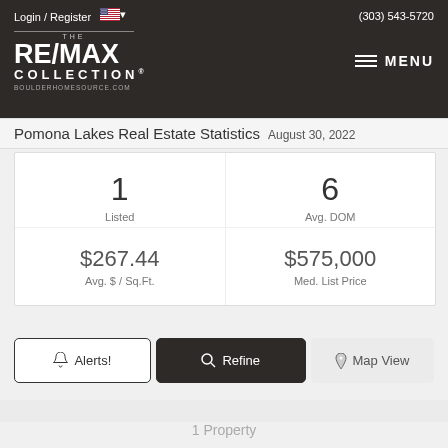Login / Register  (303) 543-5720
[Figure (logo): THE RE/MAX COLLECTION logo with BOULDERHOMESOURCE.COM and MENU hamburger]
Pomona Lakes Real Estate Statistics August 30, 2022
| 1 | 6 |
| Listed | Avg. DOM |
| $267.44 | $575,000 |
| Avg. $ / Sq.Ft. | Med. List Price |
Alerts!  Refine  Map View
1 Property